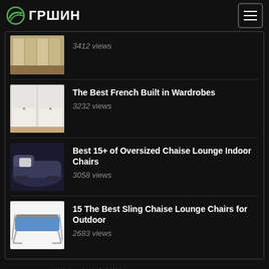GPWIH
3412 views
The Best French Built in Wardrobes — 3232 views
Best 15+ of Oversized Chaise Lounge Indoor Chairs — 3058 views
15 The Best Sling Chaise Lounge Chairs for Outdoor — 2683 views
Article index: a b c d e f g h i j k l m n o p q r s t u v w x y z 0 1 2 3 4 5 6 7 8 9
Image index: a b c d e f g h i j k l m n o p q r s t u v w x y z 0 1 2 3 4 5 6 7 8 9
Terms of Service / Privacy Policy / Sitemap